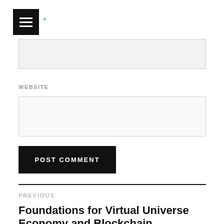[Figure (other): Hamburger menu icon — black square with three white horizontal lines]
*
WEBSITE
POST COMMENT
PREVIOUS
Foundations for Virtual Universe Economy and Blockchain Economy...